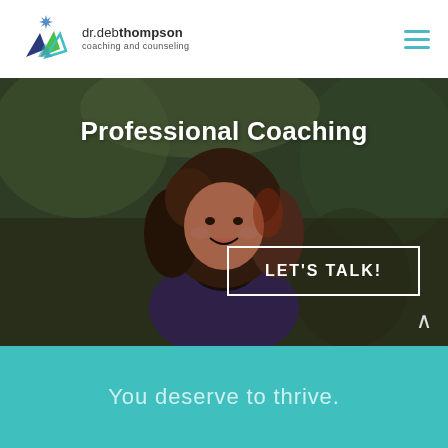[Figure (logo): Dr. Deb Thompson coaching and counseling logo with mountain/triangle icon and star]
[Figure (photo): Smiling woman with curly brown hair wearing a purple jacket and colorful necklace, standing in front of green plants/foliage]
Professional Coaching
LET'S TALK!
You deserve to thrive.